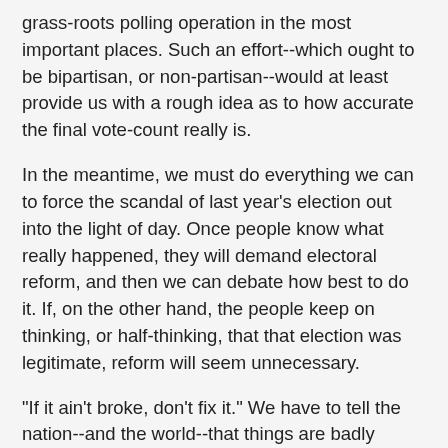grass-roots polling operation in the most important places. Such an effort--which ought to be bipartisan, or non-partisan--would at least provide us with a rough idea as to how accurate the final vote-count really is.
In the meantime, we must do everything we can to force the scandal of last year's election out into the light of day. Once people know what really happened, they will demand electoral reform, and then we can debate how best to do it. If, on the other hand, the people keep on thinking, or half-thinking, that that election was legitimate, reform will seem unnecessary.
"If it ain't broke, don't fix it." We have to tell the nation--and the world--that things are badly broken here. If we do not, American democracy will soon be past repair.
I'd imagine that, after reading your book, there will be many alarmed citizens out there who will be wondering what they can do to help ensure honest elections in the future in America. What would be your advice to them?